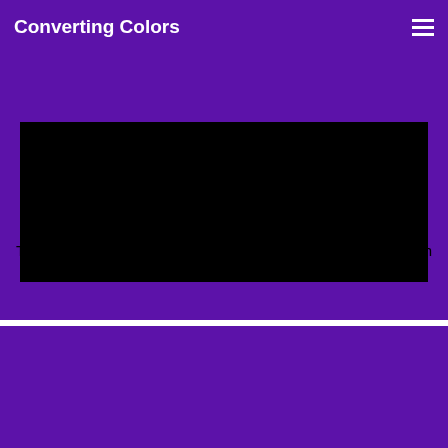Converting Colors
[Figure (other): Black color swatch rectangle on purple background (#5C12A9)]
This preview shows how black text looks on a background with the Hex color 5C12A9.
[Figure (other): White color swatch rectangle on purple background (#5C12A9)]